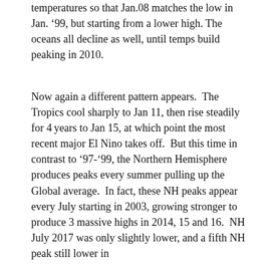temperatures so that Jan.08 matches the low in Jan. '99, but starting from a lower high. The oceans all decline as well, until temps build peaking in 2010.
Now again a different pattern appears.  The Tropics cool sharply to Jan 11, then rise steadily for 4 years to Jan 15, at which point the most recent major El Nino takes off.  But this time in contrast to '97-'99, the Northern Hemisphere produces peaks every summer pulling up the Global average.  In fact, these NH peaks appear every July starting in 2003, growing stronger to produce 3 massive highs in 2014, 15 and 16.  NH July 2017 was only slightly lower, and a fifth NH peak still lower in